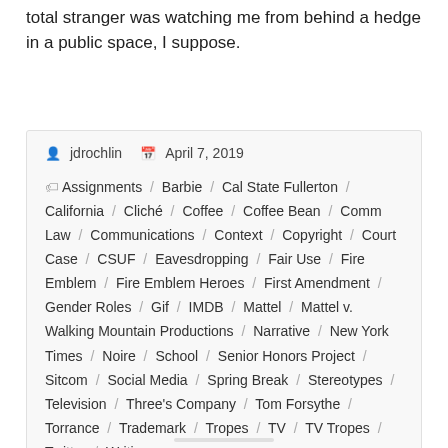total stranger was watching me from behind a hedge in a public space, I suppose.
jdrochlin  April 7, 2019  Assignments / Barbie / Cal State Fullerton / California / Cliché / Coffee / Coffee Bean / Comm Law / Communications / Context / Copyright / Court Case / CSUF / Eavesdropping / Fair Use / Fire Emblem / Fire Emblem Heroes / First Amendment / Gender Roles / Gif / IMDB / Mattel / Mattel v. Walking Mountain Productions / Narrative / New York Times / Noire / School / Senior Honors Project / Sitcom / Social Media / Spring Break / Stereotypes / Television / Three's Company / Tom Forsythe / Torrance / Trademark / Tropes / TV / TV Tropes / Twitter / Writing